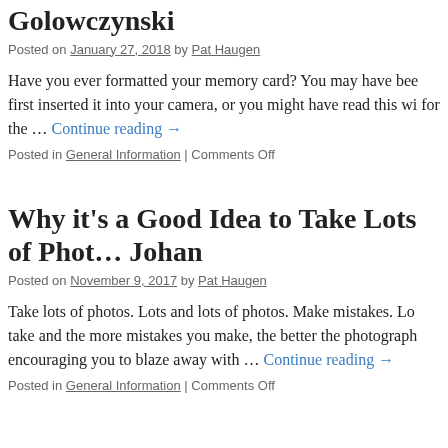Golowczynski
Posted on January 27, 2018 by Pat Haugen
Have you ever formatted your memory card? You may have been told to when you first inserted it into your camera, or you might have read this wi for the … Continue reading →
Posted in General Information | Comments Off
Why it's a Good Idea to Take Lots of Photos – Johan
Posted on November 9, 2017 by Pat Haugen
Take lots of photos. Lots and lots of photos. Make mistakes. Lo take and the more mistakes you make, the better the photograph encouraging you to blaze away with … Continue reading →
Posted in General Information | Comments Off